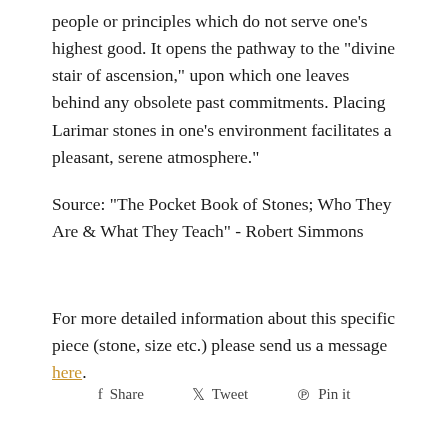people or principles which do not serve one's highest good. It opens the pathway to the "divine stair of ascension," upon which one leaves behind any obsolete past commitments. Placing Larimar stones in one's environment facilitates a pleasant, serene atmosphere."
Source: "The Pocket Book of Stones; Who They Are & What They Teach" - Robert Simmons
For more detailed information about this specific piece (stone, size etc.) please send us a message here.
Share  Tweet  Pin it